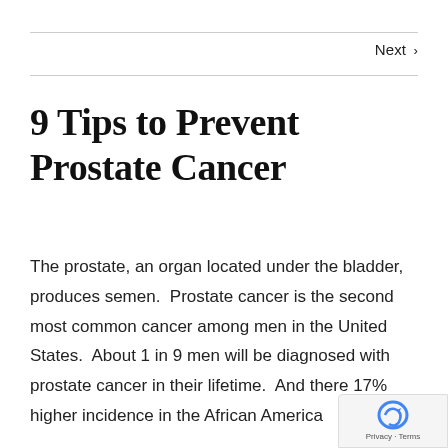Next >
9 Tips to Prevent Prostate Cancer
The prostate, an organ located under the bladder, produces semen.  Prostate cancer is the second most common cancer among men in the United States.  About 1 in 9 men will be diagnosed with prostate cancer in their lifetime.  And there 17% higher incidence in the African America…